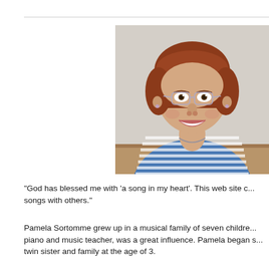[Figure (photo): Portrait photo of a smiling woman with short auburn/reddish-brown hair, wearing glasses with thin frames, a blue and white striped top, and a necklace. She is seated against a light beige wall.]
“God has blessed me with ‘a song in my heart’.  This web site c... songs with others.”
Pamela Sortomme grew up in a musical family of seven childre... piano and music teacher, was a great influence.  Pamela began s... twin sister and family at the age of 3.